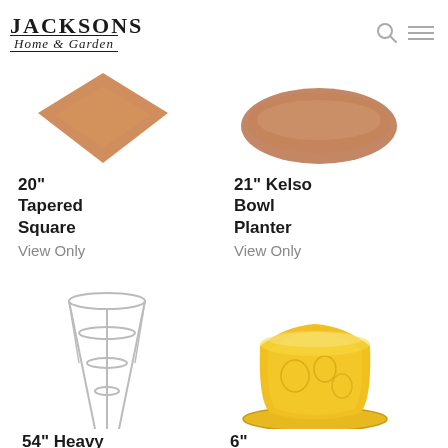[Figure (logo): Jacksons Home & Garden logo with search and menu icons]
[Figure (photo): 20 inch Tapered Square planter product image - copper/terracotta tapered square shape viewed from above]
20" Tapered Square
View Only
[Figure (photo): 21 inch Kelso Bowl Planter product image - wide shallow clay bowl viewed from above]
21" Kelso Bowl Planter
View Only
[Figure (photo): 54 inch Heavy wire tomato cage / plant support stake]
54" Heavy
[Figure (photo): 6 inch yellow ceramic floral embossed pot with matching saucer]
6"